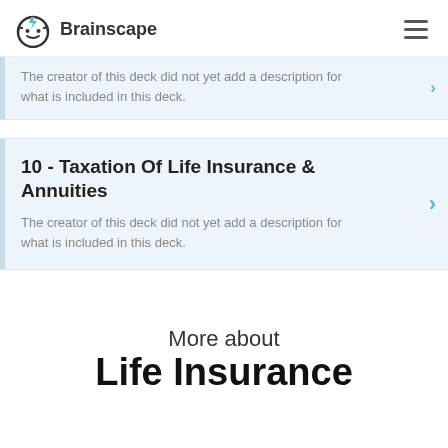Brainscape
The creator of this deck did not yet add a description for what is included in this deck.
10 - Taxation Of Life Insurance & Annuities
The creator of this deck did not yet add a description for what is included in this deck.
More about
Life Insurance